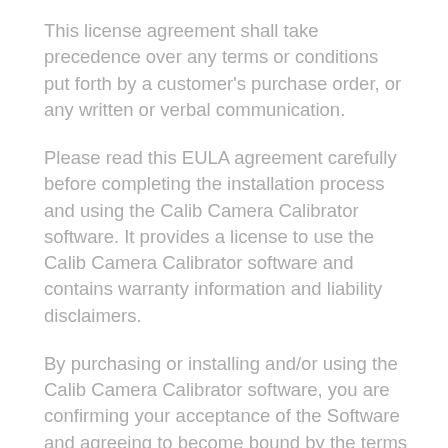This license agreement shall take precedence over any terms or conditions put forth by a customer's purchase order, or any written or verbal communication.
Please read this EULA agreement carefully before completing the installation process and using the Calib Camera Calibrator software. It provides a license to use the Calib Camera Calibrator software and contains warranty information and liability disclaimers.
By purchasing or installing and/or using the Calib Camera Calibrator software, you are confirming your acceptance of the Software and agreeing to become bound by the terms of this EULA agreement.
If you are entering into this EULA agreement on